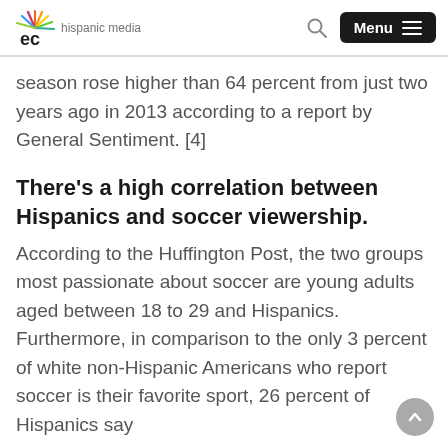ec hispanic media
season rose higher than 64 percent from just two years ago in 2013 according to a report by General Sentiment. [4]
There's a high correlation between Hispanics and soccer viewership.
According to the Huffington Post, the two groups most passionate about soccer are young adults aged between 18 to 29 and Hispanics. Furthermore, in comparison to the only 3 percent of white non-Hispanic Americans who report soccer is their favorite sport, 26 percent of Hispanics say